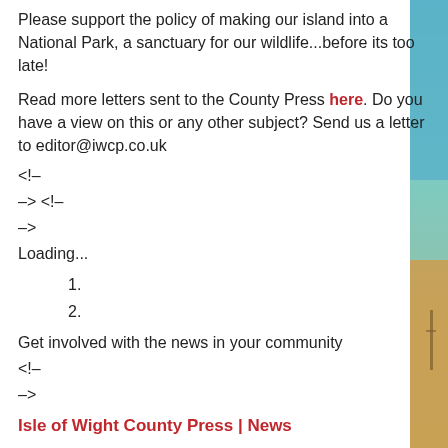Please support the policy of making our island into a National Park, a sanctuary for our wildlife...before its too late!
Read more letters sent to the County Press here. Do you have a view on this or any other subject? Send us a letter to editor@iwcp.co.uk
<!–
–> <!–
–>
Loading...
1.
2.
Get involved with the news in your community
<!–
–>
Isle of Wight County Press | News